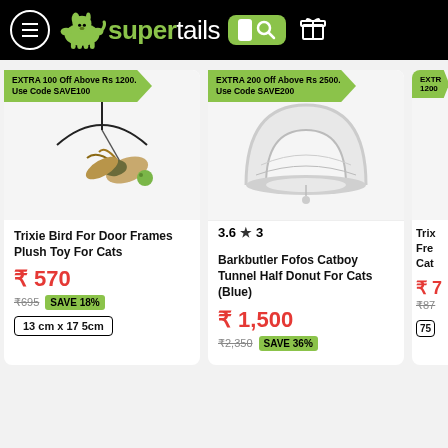[Figure (screenshot): Supertails e-commerce website header with logo, menu button, search bar]
EXTRA 100 Off Above Rs 1200. Use Code SAVE100
[Figure (photo): Trixie Bird For Door Frames Plush Toy For Cats product image]
Trixie Bird For Door Frames Plush Toy For Cats
₹ 570
₹695  SAVE 18%
13 cm x 17 5cm
EXTRA 200 Off Above Rs 2500. Use Code SAVE200
[Figure (photo): Barkbutler Fofos Catboy Tunnel Half Donut For Cats (Blue) product image]
3.6 ★ 3
Barkbutler Fofos Catboy Tunnel Half Donut For Cats (Blue)
₹ 1,500
₹2,350  SAVE 36%
EXTR... 1200...
Trixie Fre... Cat...
₹ 7...
₹87... 75